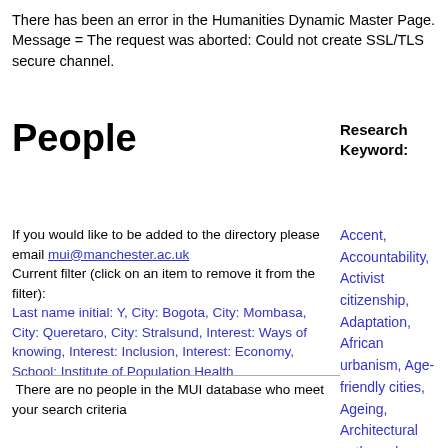There has been an error in the Humanities Dynamic Master Page. Message = The request was aborted: Could not create SSL/TLS secure channel.
People
Research Keyword:
If you would like to be added to the directory please email mui@manchester.ac.uk
Current filter (click on an item to remove it from the filter):
Last name initial: Y, City: Bogota, City: Mombasa, City: Queretaro, City: Stralsund, Interest: Ways of knowing, Interest: Inclusion, Interest: Economy, School: Institute of Population Health
Accent, Accountability, Activist citizenship, Adaptation, African urbanism, Age-friendly cities, Ageing, Architectural anthropology, Architectural drawing, Architectural ethnography, Architecture, Art, Aspiration, Atmosphere, Austerity,
There are no people in the MUI database who meet your search criteria